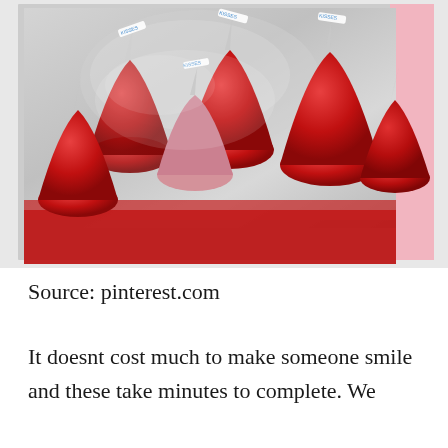[Figure (photo): Close-up photo of red foil-wrapped Hershey's Kisses chocolates in a silver metallic tray, with clear plastic bags also containing red kisses. Pink box visible on the right side, red glittery surface in the background.]
Source: pinterest.com
It doesnt cost much to make someone smile and these take minutes to complete. We